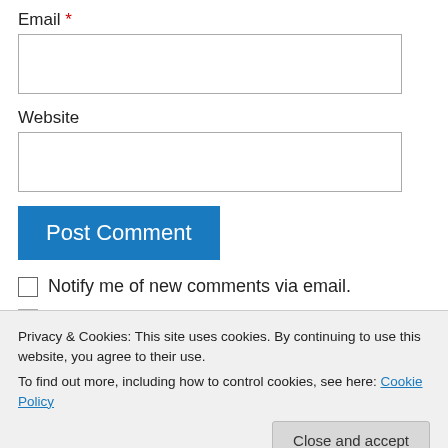Email *
[Figure (other): Empty text input box for Email field]
Website
[Figure (other): Empty text input box for Website field]
Post Comment
Notify me of new comments via email.
Privacy & Cookies: This site uses cookies. By continuing to use this website, you agree to their use.
To find out more, including how to control cookies, see here: Cookie Policy
Close and accept
Eva on 17 November 2010 at 14:24